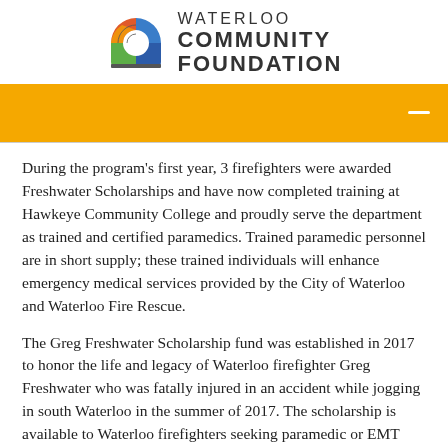[Figure (logo): Waterloo Community Foundation logo with colorful arc icon and text]
[Figure (other): Orange navigation bar with hamburger menu icon on the right]
During the program's first year, 3 firefighters were awarded Freshwater Scholarships and have now completed training at Hawkeye Community College and proudly serve the department as trained and certified paramedics. Trained paramedic personnel are in short supply; these trained individuals will enhance emergency medical services provided by the City of Waterloo and Waterloo Fire Rescue.
The Greg Freshwater Scholarship fund was established in 2017 to honor the life and legacy of Waterloo firefighter Greg Freshwater who was fatally injured in an accident while jogging in south Waterloo in the summer of 2017. The scholarship is available to Waterloo firefighters seeking paramedic or EMT